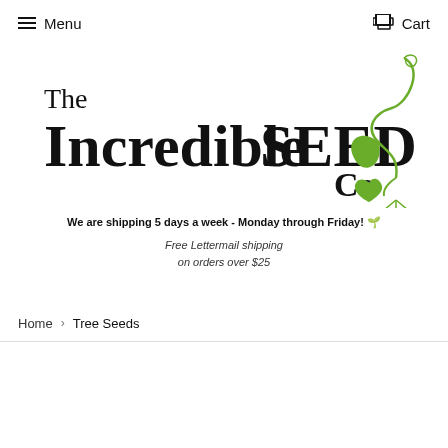Menu | Cart
[Figure (logo): The Incredible SEED Co. logo with green plant/sprout illustration]
We are shipping 5 days a week - Monday through Friday! 🌱
Free Lettermail shipping on orders over $25
Home › Tree Seeds